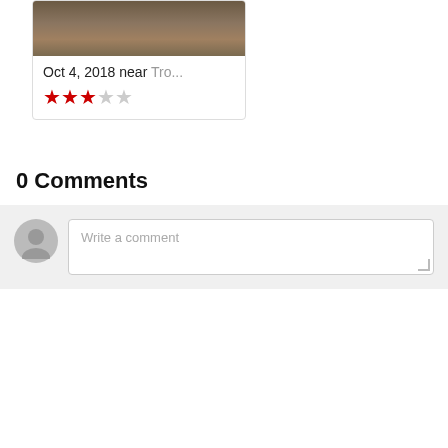[Figure (photo): Photo card showing rocky bark/wood texture, dated Oct 4, 2018 near Tro... with 3 out of 5 red star rating]
0 Comments
[Figure (screenshot): Comment input box with gray avatar icon and text field placeholder 'Write a comment']
Weather
| Today | Thu | Fri | Sat | Sun |
| --- | --- | --- | --- | --- |
| 68°F · 59°F | 66°F · 57°F | 72°F · 60°F | 78°F · 66°F | 82°F · 67°F |